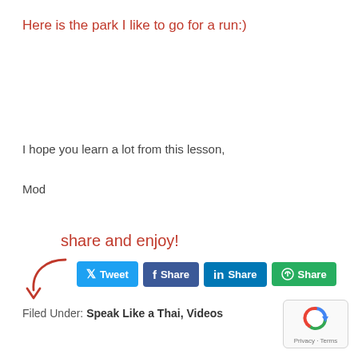Here is the park I like to go for a run:)
I hope you learn a lot from this lesson,
Mod
[Figure (infographic): Share and enjoy! label with red arrow pointing to social share buttons: Tweet (Twitter), Share (Facebook), Share (LinkedIn), Share (green)]
Filed Under: Speak Like a Thai, Videos
[Figure (logo): Google reCAPTCHA badge with Privacy and Terms text]